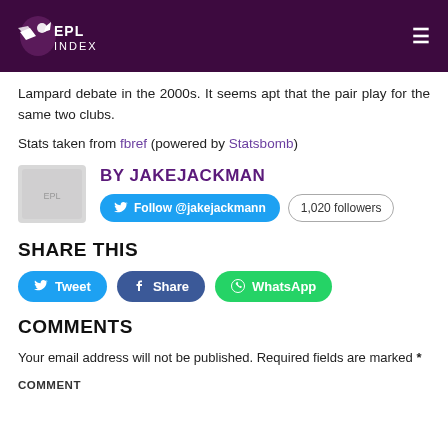EPL Index
Lampard debate in the 2000s. It seems apt that the pair play for the same two clubs.
Stats taken from fbref (powered by Statsbomb)
BY JAKEJACKMAN
Follow @jakejackmann  1,020 followers
SHARE THIS
Tweet  Share  WhatsApp
COMMENTS
Your email address will not be published. Required fields are marked *
COMMENT